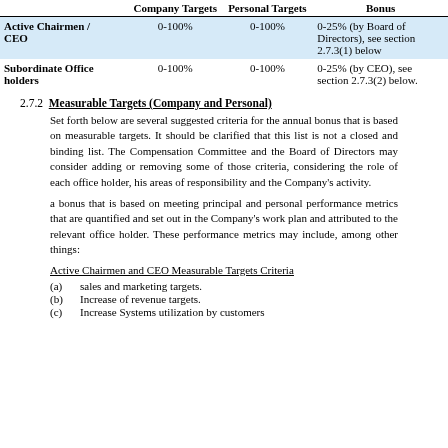|  | Company Targets | Personal Targets | Bonus |
| --- | --- | --- | --- |
| Active Chairmen / CEO | 0-100% | 0-100% | 0-25% (by Board of Directors), see section 2.7.3(1) below |
| Subordinate Office holders | 0-100% | 0-100% | 0-25% (by CEO), see section 2.7.3(2) below. |
2.7.2 Measurable Targets (Company and Personal)
Set forth below are several suggested criteria for the annual bonus that is based on measurable targets. It should be clarified that this list is not a closed and binding list. The Compensation Committee and the Board of Directors may consider adding or removing some of those criteria, considering the role of each office holder, his areas of responsibility and the Company’s activity.
a bonus that is based on meeting principal and personal performance metrics that are quantified and set out in the Company’s work plan and attributed to the relevant office holder. These performance metrics may include, among other things:
Active Chairmen and CEO Measurable Targets Criteria
(a)	sales and marketing targets.
(b)	Increase of revenue targets.
(c)	Increase Systems utilization by customers